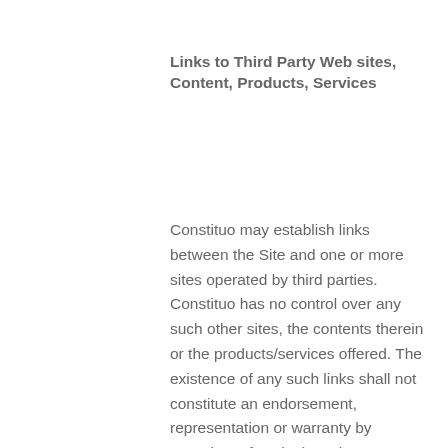Links to Third Party Web sites, Content, Products, Services
Constituo may establish links between the Site and one or more sites operated by third parties. Constituo has no control over any such other sites, the contents therein or the products/services offered. The existence of any such links shall not constitute an endorsement, representation or warranty by Constituo of such sites, the contents of the third party websites, the products or services of such sites or the operators of the sites. Constituo disclaims responsibility for the privacy policies and customer information practices of third-party Internet sites